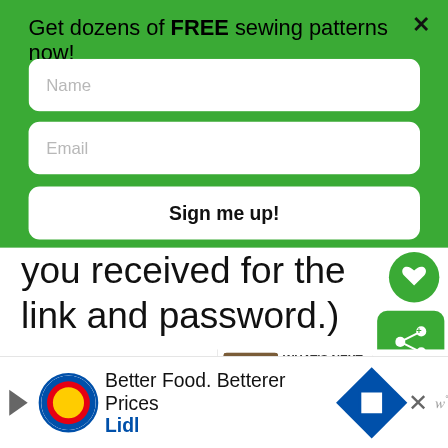Get dozens of FREE sewing patterns now!
Name
Email
Sign me up!
you received for the link and password.)
Print out these instructions.
Scroll down to the end of this
WHAT'S NEXT → How to Sew a Pillowcase...
Better Food. Betterer Prices Lidl